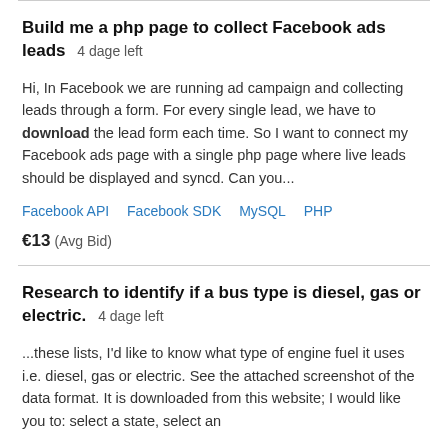Build me a php page to collect Facebook ads leads  4 dage left
Hi, In Facebook we are running ad campaign and collecting leads through a form. For every single lead, we have to download the lead form each time. So I want to connect my Facebook ads page with a single php page where live leads should be displayed and syncd. Can you...
Facebook API  Facebook SDK  MySQL  PHP
€13  (Avg Bid)
Research to identify if a bus type is diesel, gas or electric.  4 dage left
...these lists, I'd like to know what type of engine fuel it uses i.e. diesel, gas or electric. See the attached screenshot of the data format. It is downloaded from this website; I would like you to: select a state, select an